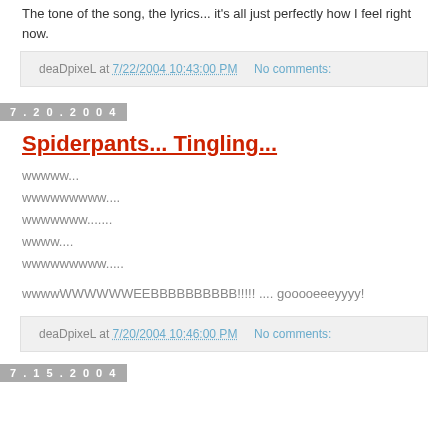The tone of the song, the lyrics... it's all just perfectly how I feel right now.
deaDpixeL at 7/22/2004 10:43:00 PM    No comments:
7.20.2004
Spiderpants... Tingling...
wwwww...
wwwwwwwww....
wwwwwww.......
wwww....
wwwwwwwww.....
wwwwWWWWWWEEBBBBBBBBBB!!!!! .... gooooeeeyyyy!
deaDpixeL at 7/20/2004 10:46:00 PM    No comments:
7.15.2004